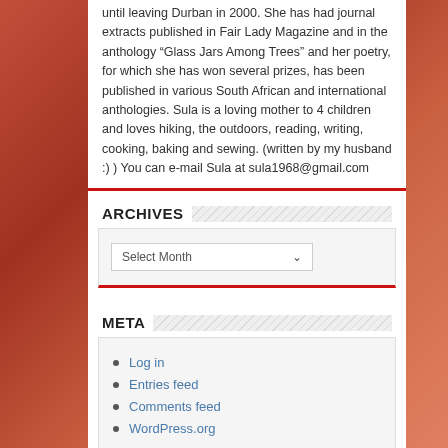until leaving Durban in 2000. She has had journal extracts published in Fair Lady Magazine and in the anthology “Glass Jars Among Trees” and her poetry, for which she has won several prizes, has been published in various South African and international anthologies. Sula is a loving mother to 4 children and loves hiking, the outdoors, reading, writing, cooking, baking and sewing. (written by my husband :) ) You can e-mail Sula at sula1968@gmail.com
ARCHIVES
Select Month
META
Log in
Entries feed
Comments feed
WordPress.org